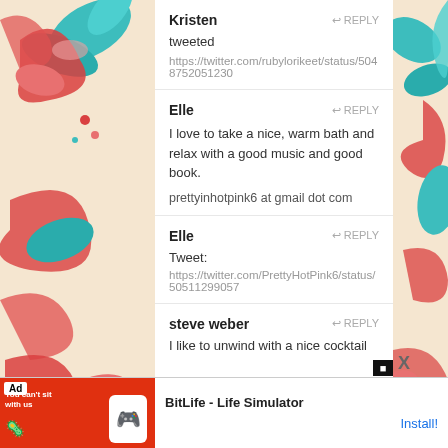Kristen
↩ REPLY
tweeted
https://twitter.com/rubylorikeet/status/5048752051230
Elle
↩ REPLY
I love to take a nice, warm bath and relax with a good music and good book.
prettyinhotpink6 at gmail dot com
Elle
↩ REPLY
Tweet:
https://twitter.com/PrettyHotPink6/status/50511299057
steve weber
↩ REPLY
I like to unwind with a nice cocktail
[Figure (screenshot): Ad banner for BitLife - Life Simulator app with orange background and app icon on left, Install! button on right]